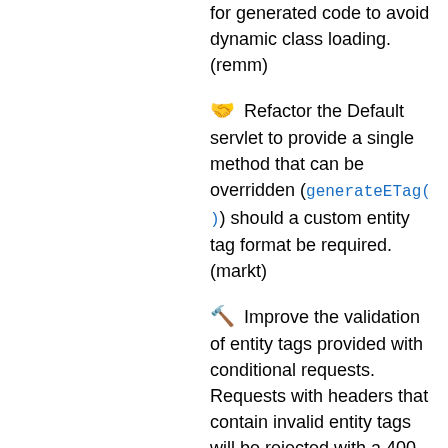for generated code to avoid dynamic class loading. (remm)
Refactor the Default servlet to provide a single method that can be overridden (generateETag()) should a custom entity tag format be required. (markt)
Improve the validation of entity tags provided with conditional requests. Requests with headers that contain invalid entity tags will be rejected with a 400 response code. Improve the matching algorithm used to compare entity tags in conditional requests with the entity tag for the requested